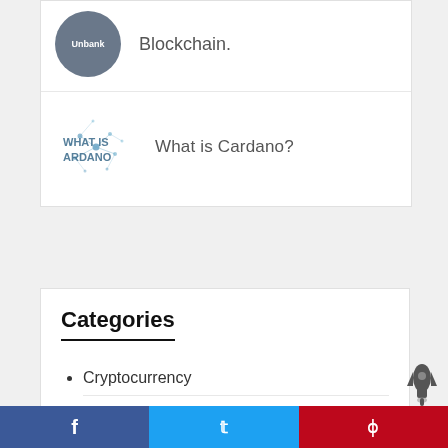[Figure (photo): Circular thumbnail image with 'Unbank' text overlay, dark grey background]
Blockchain.
[Figure (illustration): Square thumbnail image with blue node/network graphic and text 'WHAT IS CARDANO']
What is Cardano?
Categories
Cryptocurrency
How to . . .
[Figure (logo): Dark rocket ship icon]